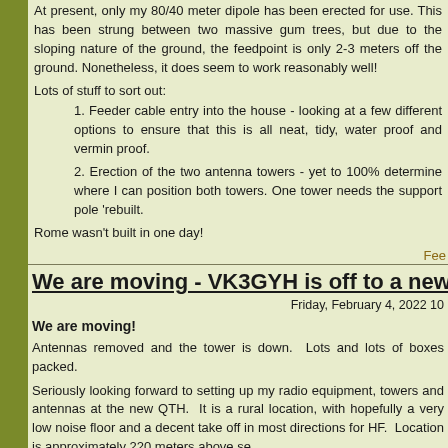At present, only my 80/40 meter dipole has been erected for use. This has been strung between two massive gum trees, but due to the sloping nature of the ground, the feedpoint is only 2-3 meters off the ground. Nonetheless, it does seem to work reasonably well!
Lots of stuff to sort out:
1. Feeder cable entry into the house - looking at a few different options to ensure that this is all neat, tidy, water proof and vermin proof.
2. Erection of the two antenna towers - yet to 100% determine where I can position both towers. One tower needs the support pole 'rebuilt.
Rome wasn't built in one day!
Fee
We are moving - VK3GYH is off to a new grid sq
Friday, February 4, 2022 10
We are moving!
Antennas removed and the tower is down. Lots and lots of boxes packed.
Seriously looking forward to setting up my radio equipment, towers and antennas at the new QTH. It is a rural location, with hopefully a very low noise floor and a decent take off in most directions for HF. Location is approximately 220 meters above se
[Figure (photo): Photo of an antenna tower/mast with a yagi antenna at the top, set against a light sky, with large green trees (including a large leafy tree) in the background. The tower appears to be in a residential or rural garden setting.]